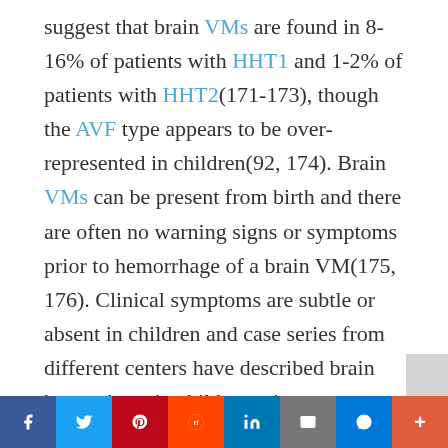suggest that brain VMs are found in 8-16% of patients with HHT1 and 1-2% of patients with HHT2(171-173), though the AVF type appears to be over-represented in children(92, 174). Brain VMs can be present from birth and there are often no warning signs or symptoms prior to hemorrhage of a brain VM(175, 176). Clinical symptoms are subtle or absent in children and case series from different centers have described brain hemorrhage in children prior to diagnosis or screening procedures(93, 94, 175). The purpose of imaging screening of children with HHT is to identify if a brain VM is present and, to the extent possible, differentiate between the three common subtypes
Social share bar: Facebook, Twitter, Pinterest, Reddit, LinkedIn, Email, Messenger, More